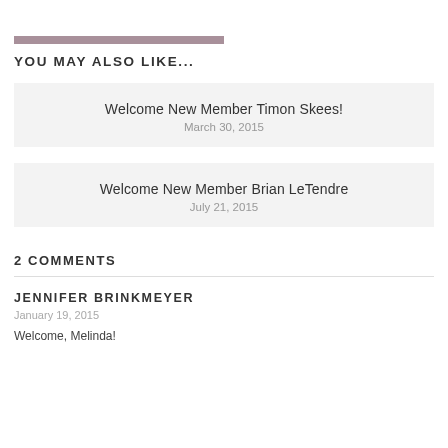YOU MAY ALSO LIKE...
Welcome New Member Timon Skees!
March 30, 2015
Welcome New Member Brian LeTendre
July 21, 2015
2 COMMENTS
JENNIFER BRINKMEYER
January 19, 2015
Welcome, Melinda!